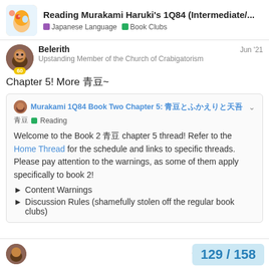Reading Murakami Haruki's 1Q84 (Intermediate/... | Japanese Language | Book Clubs
Belerith
Upstanding Member of the Church of Crabigatorism
Jun '21
Chapter 5! More 青豆~
Murakami 1Q84 Book Two Chapter 5: 青豆とふかえりと天吾 | Reading
Welcome to the Book 2 青豆 chapter 5 thread! Refer to the Home Thread for the schedule and links to specific threads. Please pay attention to the warnings, as some of them apply specifically to book 2!
► Content Warnings
► Discussion Rules (shamefully stolen off the regular book clubs)
129 / 158